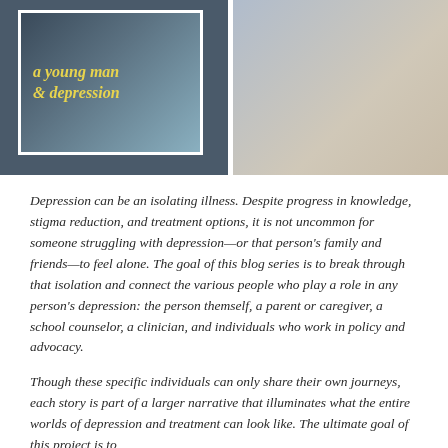[Figure (photo): Photo collage showing two images side by side separated by a white gap. Left image shows stacked books with text overlay reading 'a young man & depression' in yellow italic font on a teal/dark background with a white border frame. Right image shows a blurred background scene, lighter tones.]
Depression can be an isolating illness. Despite progress in knowledge, stigma reduction, and treatment options, it is not uncommon for someone struggling with depression—or that person's family and friends—to feel alone. The goal of this blog series is to break through that isolation and connect the various people who play a role in any person's depression: the person themself, a parent or caregiver, a school counselor, a clinician, and individuals who work in policy and advocacy.
Though these specific individuals can only share their own journeys, each story is part of a larger narrative that illuminates what the entire worlds of depression and treatment can look like. The ultimate goal of this project is to